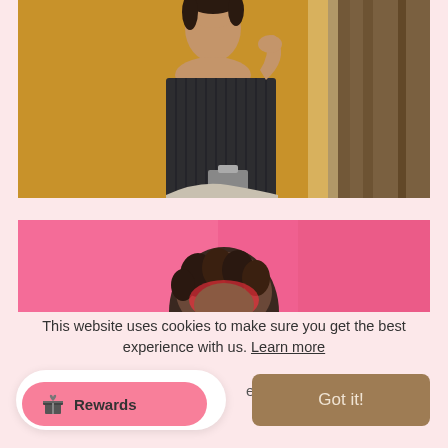[Figure (photo): A woman wearing a dark strapless corset top and light metallic skirt, standing near a yellow-orange background with curtains]
[Figure (photo): Partial photo of a person with curly hair against a pink background, partially obscured by cookie banner]
This website uses cookies to make sure you get the best experience with us. Learn more
Got it!
Rewards